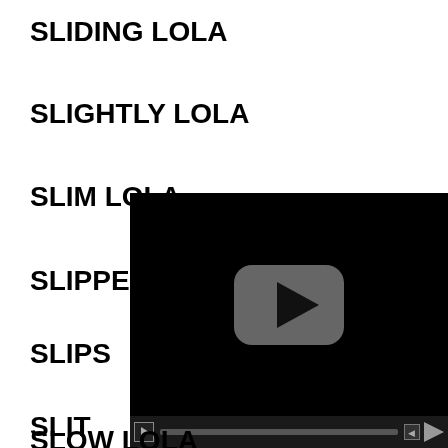SLIDING LOLA
SLIGHTLY LOLA
SLIM LOLA
SLIPPERY LOLA
SLIPS...
SLIT...
SLOBS...
SLOPP...
[Figure (screenshot): Video player overlay with black background, gray rounded-rectangle play button in center, and video controls bar at bottom with play button, progress bar, volume icon, and triangle icon.]
SLOW LOLA